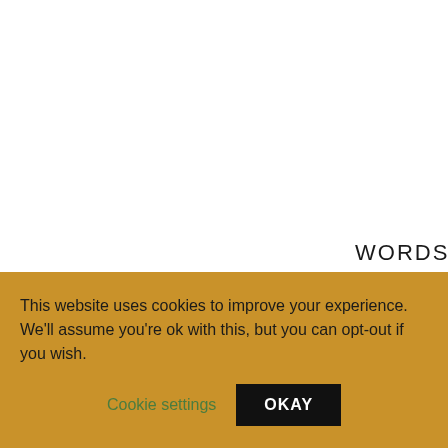WORDS OF WI
Fast Inspiration
Learning never sto
This website uses cookies to improve your experience. We'll assume you're ok with this, but you can opt-out if you wish.
Cookie settings
OKAY